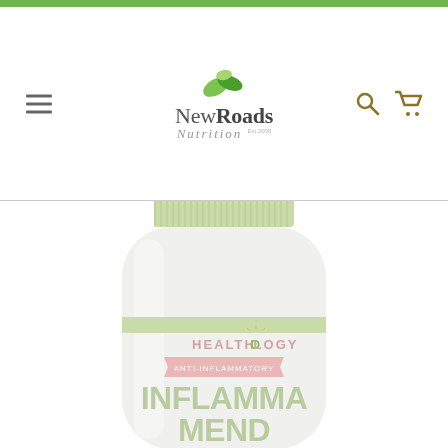[Figure (logo): NewRoads Nutrition logo with green leaf icon, stylized text 'NewRoads' and italic 'Nutrition' below, Est 2008]
[Figure (photo): Healthology Inflamma Mend supplement bottle - white bottle with light green cap label and green band, displaying brand name HEALTHOLOGY, product name INFLAMMA MEND in large dark green text, and small text reading 'Best in herbal medicine to help relieve minor pain, aching, and inflammation']